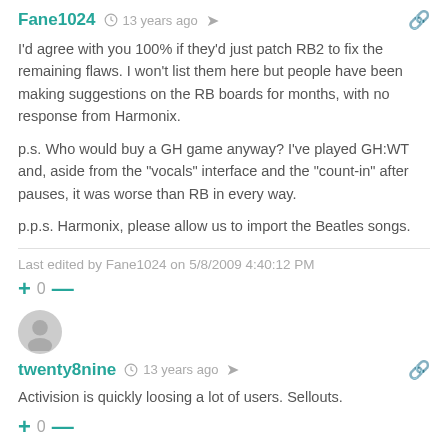Fane1024 · 13 years ago
I'd agree with you 100% if they'd just patch RB2 to fix the remaining flaws. I won't list them here but people have been making suggestions on the RB boards for months, with no response from Harmonix.

p.s. Who would buy a GH game anyway? I've played GH:WT and, aside from the "vocals" interface and the "count-in" after pauses, it was worse than RB in every way.

p.p.s. Harmonix, please allow us to import the Beatles songs.
Last edited by Fane1024 on 5/8/2009 4:40:12 PM
+ 0 —
twenty8nine · 13 years ago
Activision is quickly loosing a lot of users. Sellouts.
+ 0 —